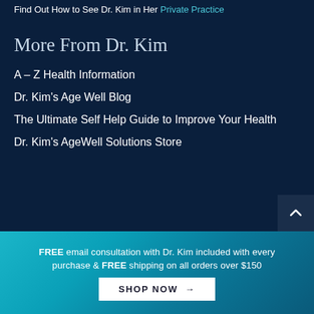Find Out How to See Dr. Kim in Her Private Practice
More From Dr. Kim
A – Z Health Information
Dr. Kim's Age Well Blog
The Ultimate Self Help Guide to Improve Your Health
Dr. Kim's AgeWell Solutions Store
FREE email consultation with Dr. Kim included with every purchase & FREE shipping on all orders over $150
SHOP NOW →